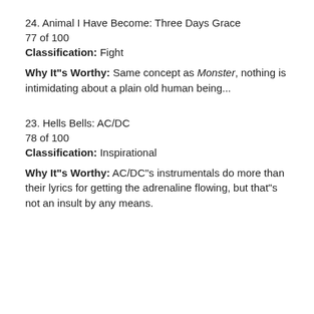24. Animal I Have Become: Three Days Grace
77 of 100
Classification: Fight

Why It"s Worthy: Same concept as Monster, nothing is intimidating about a plain old human being...
23. Hells Bells: AC/DC
78 of 100
Classification: Inspirational

Why It"s Worthy: AC/DC"s instrumentals do more than their lyrics for getting the adrenaline flowing, but that"s not an insult by any means.